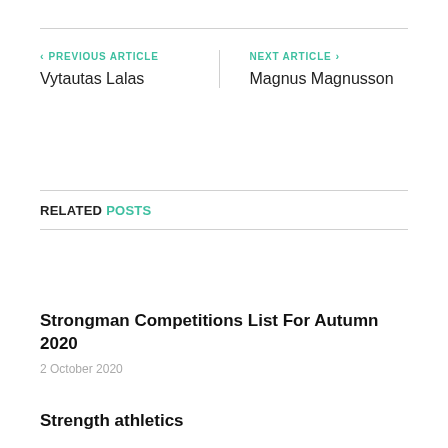< PREVIOUS ARTICLE
Vytautas Lalas
NEXT ARTICLE >
Magnus Magnusson
RELATED POSTS
Strongman Competitions List For Autumn 2020
2 October 2020
Strength athletics